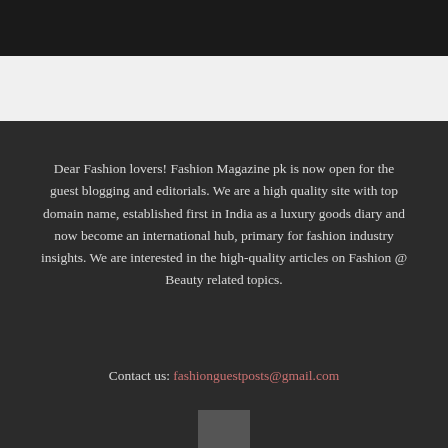Dear Fashion lovers! Fashion Magazine pk is now open for the guest blogging and editorials. We are a high quality site with top domain name, established first in India as a luxury goods diary and now become an international hub, primary for fashion industry insights. We are interested in the high-quality articles on Fashion @ Beauty related topics.
Contact us: fashionguestposts@gmail.com